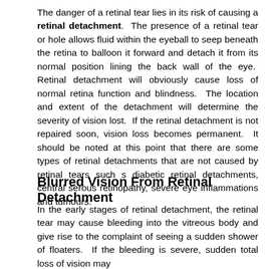The danger of a retinal tear lies in its risk of causing a retinal detachment. The presence of a retinal tear or hole allows fluid within the eyeball to seep beneath the retina to balloon it forward and detach it from its normal position lining the back wall of the eye. Retinal detachment will obviously cause loss of normal retina function and blindness. The location and extent of the detachment will determine the severity of vision lost. If the retinal detachment is not repaired soon, vision loss becomes permanent. It should be noted at this point that there are some types of retinal detachments that are not caused by retinal tears such s diabetic retinal detachments, central serous retinopathy, severe eye inflammations and tumours.
Blurred Vision From Retinal Detachment
In the early stages of retinal detachment, the retinal tear may cause bleeding into the vitreous body and give rise to the complaint of seeing a sudden shower of floaters. If the bleeding is severe, sudden total loss of vision may